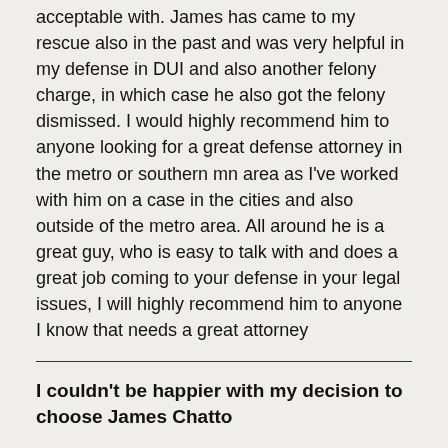acceptable with. James has came to my rescue also in the past and was very helpful in my defense in DUI and also another felony charge, in which case he also got the felony dismissed. I would highly recommend him to anyone looking for a great defense attorney in the metro or southern mn area as I've worked with him on a case in the cities and also outside of the metro area. All around he is a great guy, who is easy to talk with and does a great job coming to your defense in your legal issues, I will highly recommend him to anyone I know that needs a great attorney
I couldn't be happier with my decision to choose James Chatto
I highly recommend Jim. I must of received 50+ letters in the mail from attorneys. I chose the 5 I liked the best